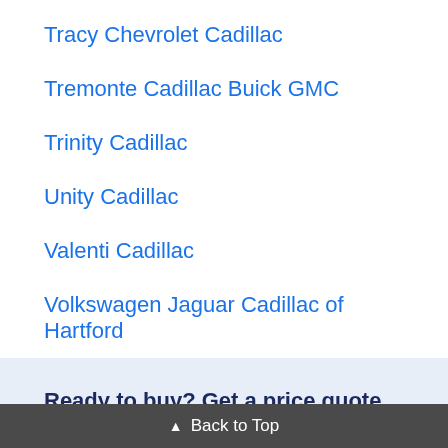Tracy Chevrolet Cadillac
Tremonte Cadillac Buick GMC
Trinity Cadillac
Unity Cadillac
Valenti Cadillac
Volkswagen Jaguar Cadillac of Hartford
Ready to buy? Get a price quote before visiting the dealership.
Get multiple quotes
No cost, no-hassle negotiation
▲ Back to Top